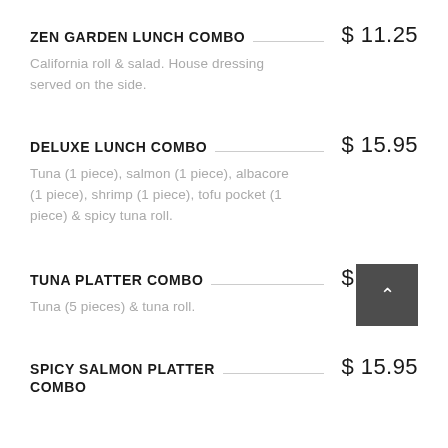ZEN GARDEN LUNCH COMBO  $ 11.25
California roll & salad. House dressing served on the side.
DELUXE LUNCH COMBO  $ 15.95
Tuna (1 piece), salmon (1 piece), albacore (1 piece), shrimp (1 piece), tofu pocket (1 piece) & spicy tuna roll.
TUNA PLATTER COMBO  $ 16.25
Tuna (5 pieces) & tuna roll.
SPICY SALMON PLATTER COMBO  $ 15.95